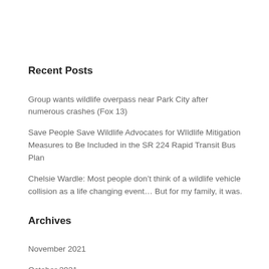Recent Posts
Group wants wildlife overpass near Park City after numerous crashes (Fox 13)
Save People Save Wildlife Advocates for WIldlife Mitigation Measures to Be Included in the SR 224 Rapid Transit Bus Plan
Chelsie Wardle: Most people don’t think of a wildlife vehicle collision as a life changing event… But for my family, it was.
Archives
November 2021
October 2021